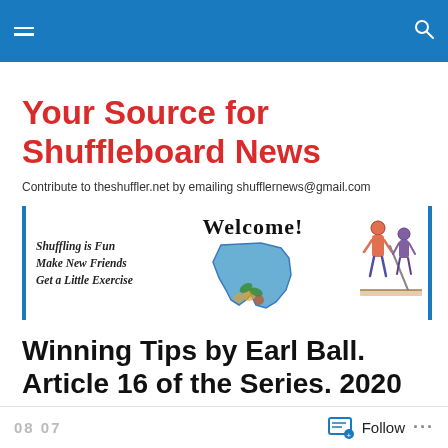Navigation bar with hamburger menu and search icon
Your Source for Shuffleboard News
Contribute to theshuffler.net by emailing shufflernews@gmail.com
[Figure (illustration): Welcome banner with text 'Welcome!', 'Shuffling is Fun', 'Make New Friends', 'Get a Little Exercise', a Florida state map with flowers, and a cartoon of shuffleboard players]
Winning Tips by Earl Ball. Article 16 of the Series. 2020
08 07  Follow ...